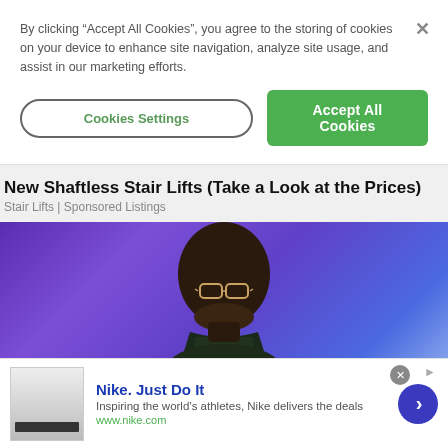By clicking “Accept All Cookies”, you agree to the storing of cookies on your device to enhance site navigation, analyze site usage, and assist in our marketing efforts.
Cookies Settings
Accept All Cookies
New Shaftless Stair Lifts (Take a Look at the Prices)
Stair Lifts | Sponsored Listings
[Figure (photo): Person with glasses speaking at an event, purple/blue stage lighting background]
Nike. Just Do It
Inspiring the world’s athletes, Nike delivers the deals
www.nike.com